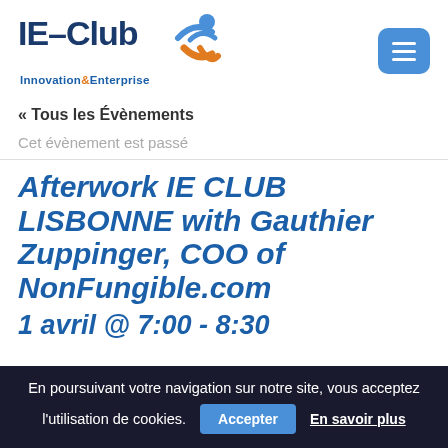IE-Club Innovation&Enterprise [logo with hamburger menu]
« Tous les Évènements
Cet évènement est passé
Afterwork IE CLUB LISBONNE with Gauthier Zuppinger, COO of NonFungible.com
1 avril @ 7:00 - 8:30
En poursuivant votre navigation sur notre site, vous acceptez l'utilisation de cookies. Accepter En savoir plus